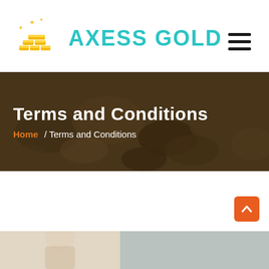[Figure (logo): Axess Gold logo with gold bars and sparkle stars icon, teal text reading AXESS GOLD]
[Figure (other): Hamburger menu icon with three horizontal black bars]
Terms and Conditions
Home / Terms and Conditions
[Figure (photo): Bottom strip showing a partial photo of a person, cropped at page bottom]